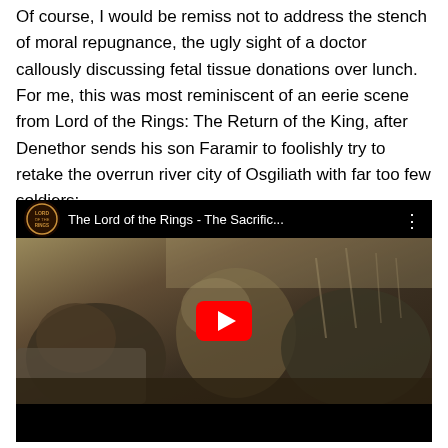Of course, I would be remiss not to address the stench of moral repugnance, the ugly sight of a doctor callously discussing fetal tissue donations over lunch. For me, this was most reminiscent of an eerie scene from Lord of the Rings: The Return of the King, after Denethor sends his son Faramir to foolishly try to retake the overrun river city of Osgiliath with far too few soldiers:
[Figure (screenshot): Embedded YouTube video thumbnail showing a battle scene from Lord of the Rings with armored soldiers. Title bar reads 'The Lord of the Rings - The Sacrific...' with Lord of the Rings logo. A red YouTube play button is centered on the video.]